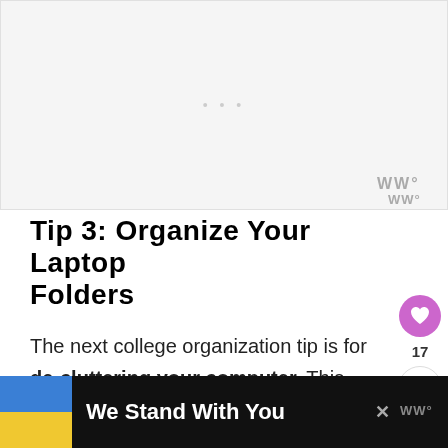[Figure (other): Advertisement placeholder area, light gray background with small dots and watermark logo]
Tip 3: Organize Your Laptop Folders
The next college organization tip is for de-cluttering your computer. This means
[Figure (other): Bottom banner advertisement: Ukraine flag image with text 'We Stand With You', close button, and website logo]